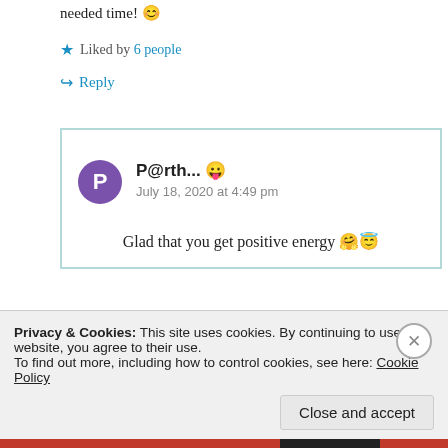needed time! 😊
★ Liked by 6 people
↪ Reply
P@rth... 😋
July 18, 2020 at 4:49 pm
Glad that you get positive energy 🤗😇
Privacy & Cookies: This site uses cookies. By continuing to use this website, you agree to their use.
To find out more, including how to control cookies, see here: Cookie Policy
Close and accept